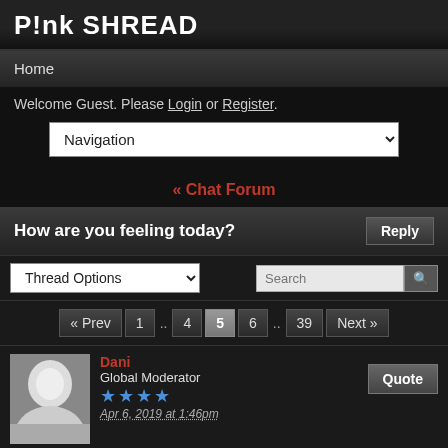P!nk SHREAD
Home
Welcome Guest. Please Login or Register.
Navigation (dropdown)
« Chat Forum
How are you feeling today?
Thread Options (dropdown) | Search
« Prev  1  ..  4  5  6  ..  39  Next »
Dani
Global Moderator
★★★★
Apr 6, 2019 at 1:46pm
It says 16 but that must be bullshit because when I went out this morning to